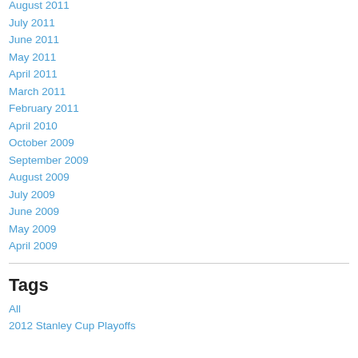August 2011
July 2011
June 2011
May 2011
April 2011
March 2011
February 2011
April 2010
October 2009
September 2009
August 2009
July 2009
June 2009
May 2009
April 2009
Tags
All
2012 Stanley Cup Playoffs